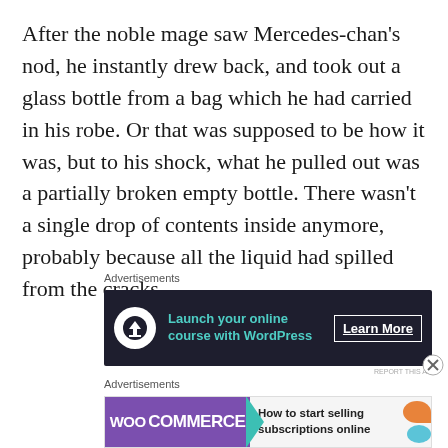After the noble mage saw Mercedes-chan's nod, he instantly drew back, and took out a glass bottle from a bag which he had carried in his robe. Or that was supposed to be how it was, but to his shock, what he pulled out was a partially broken empty bottle. There wasn't a single drop of contents inside anymore, probably because all the liquid had spilled from the cracks.
Advertisements
[Figure (other): Dark-themed advertisement banner: circular icon with upload/course symbol, green text 'Launch your online course with WordPress', white 'Learn More' button with underline]
REPORT THIS AD
Advertisements
[Figure (other): WooCommerce advertisement: purple background with WooCommerce logo, teal arrow shape, text 'How to start selling subscriptions online', orange and blue decorative shapes]